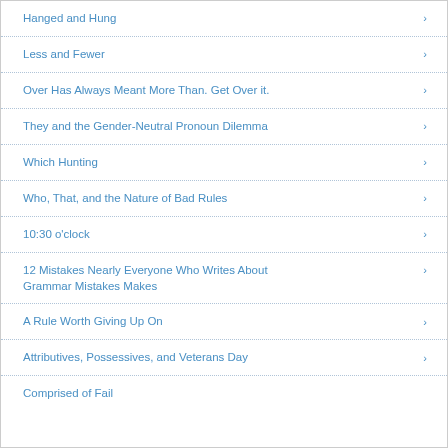Hanged and Hung
Less and Fewer
Over Has Always Meant More Than. Get Over it.
They and the Gender-Neutral Pronoun Dilemma
Which Hunting
Who, That, and the Nature of Bad Rules
10:30 o'clock
12 Mistakes Nearly Everyone Who Writes About Grammar Mistakes Makes
A Rule Worth Giving Up On
Attributives, Possessives, and Veterans Day
Comprised of Fail